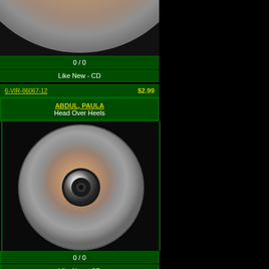[Figure (photo): Partial view of a CD (top portion cut off at top of page)]
0 / 0
Like New - CD
6-VIR-86067-12   $2.99
ABDUL, PAULA
Head Over Heels
[Figure (photo): Full view of a compact disc (CD) with metallic rainbow-tinted surface and dark center hub, on dark background]
0 / 0
Like New - CD
6-VIR-40525-12   $2.99
ABDUL, PAULA
It's Just The Way That You Love Me (4 vers.)
[Figure (photo): Partial view of a CD (bottom portion visible at bottom of page)]